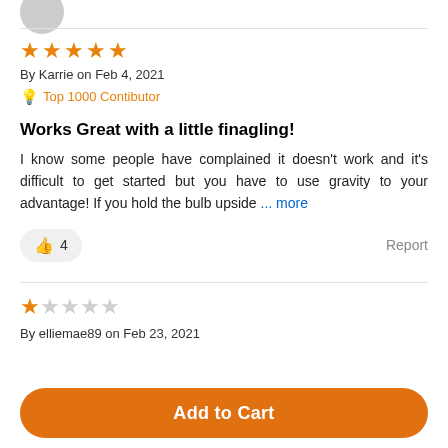[Figure (illustration): Partial avatar/profile image circle at top of page]
★★★★★ By Karrie on Feb 4, 2021 🔆 Top 1000 Contibutor
Works Great with a little finagling!
I know some people have complained it doesn't work and it's difficult to get started but you have to use gravity to your advantage! If you hold the bulb upside ... more
👍 4   Report
★☆☆☆☆ By elliemae89 on Feb 23, 2021
Add to Cart